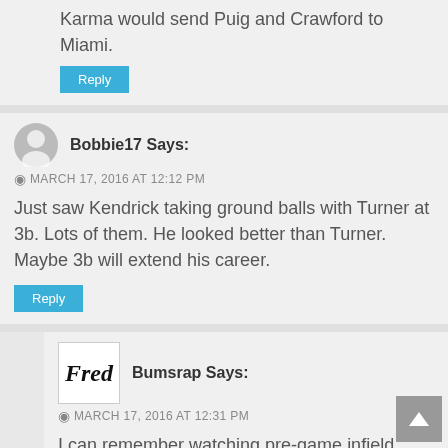Karma would send Puig and Crawford to Miami.
Reply
Bobbie17 Says:
MARCH 17, 2016 AT 12:12 PM
Just saw Kendrick taking ground balls with Turner at 3b. Lots of them. He looked better than Turner. Maybe 3b will extend his career.
Reply
[Figure (illustration): Fred logo avatar - stylized italic handwritten Fred text on white square]
Bumsrap Says:
MARCH 17, 2016 AT 12:31 PM
I can remember watching pre-game infield